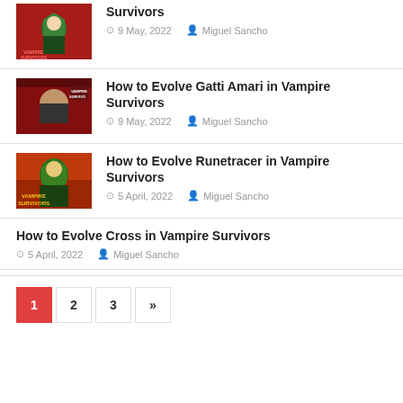[Figure (photo): Vampire Survivors game thumbnail - character with green hood on red background]
How to Evolve Gatti Amari in Vampire Survivors
9 May, 2022   Miguel Sancho
[Figure (photo): Vampire Survivors game thumbnail - Vampire Survivors logo with character on orange background]
How to Evolve Runetracer in Vampire Survivors
5 April, 2022   Miguel Sancho
How to Evolve Cross in Vampire Survivors
5 April, 2022   Miguel Sancho
1
2
3
»